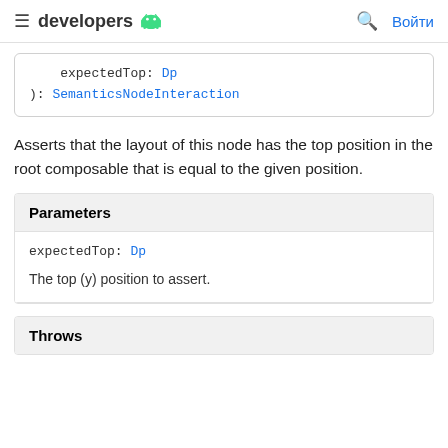≡ developers 🤖  🔍  Войти
expectedTop: Dp
): SemanticsNodeInteraction
Asserts that the layout of this node has the top position in the root composable that is equal to the given position.
| Parameters |
| --- |
| expectedTop: Dp | The top (y) position to assert. |
| Throws |
| --- |